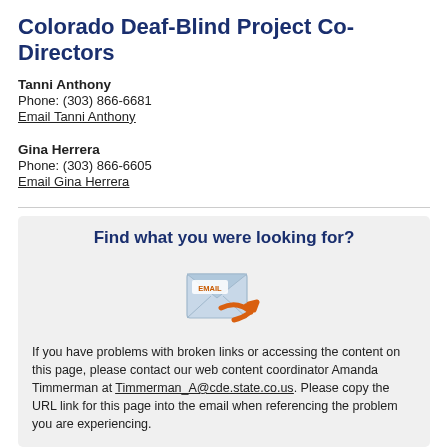Colorado Deaf-Blind Project Co-Directors
Tanni Anthony
Phone: (303) 866-6681
Email Tanni Anthony
Gina Herrera
Phone: (303) 866-6605
Email Gina Herrera
[Figure (illustration): Email envelope icon with orange arrow, labeled EMAIL]
Find what you were looking for?
If you have problems with broken links or accessing the content on this page, please contact our web content coordinator Amanda Timmerman at Timmerman_A@cde.state.co.us. Please copy the URL link for this page into the email when referencing the problem you are experiencing.